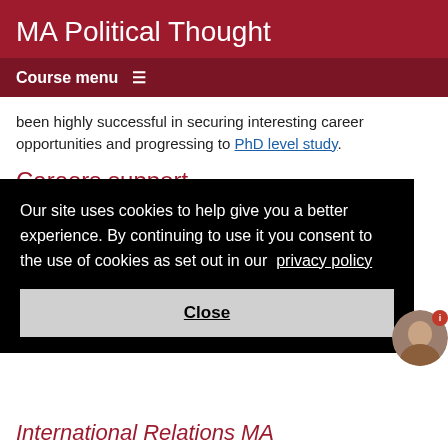MA Political Thought
Course menu ≡
been highly successful in securing interesting career opportunities and progressing to PhD level study.
Careers support
Our careers advisory service provides expert guidance to all
Our site uses cookies to help give you a better experience. By continuing to use it you consent to the use of cookies as set out in our privacy policy
Close
International Relations MA